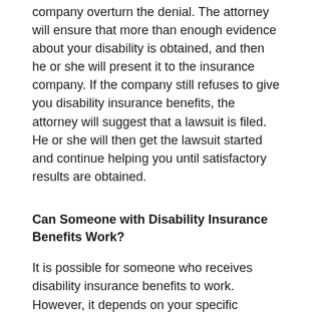company overturn the denial. The attorney will ensure that more than enough evidence about your disability is obtained, and then he or she will present it to the insurance company. If the company still refuses to give you disability insurance benefits, the attorney will suggest that a lawsuit is filed. He or she will then get the lawsuit started and continue helping you until satisfactory results are obtained.
Can Someone with Disability Insurance Benefits Work?
It is possible for someone who receives disability insurance benefits to work. However, it depends on your specific situation, as well as the company that the benefits are obtained from. In some cases, you will be able to continue receiving the benefits, but the amount will be offset by the income that you are bringing in from work. If the denial for benefits gets overturned, an attorney can review the documentation and let you know if getting a job is allowed.